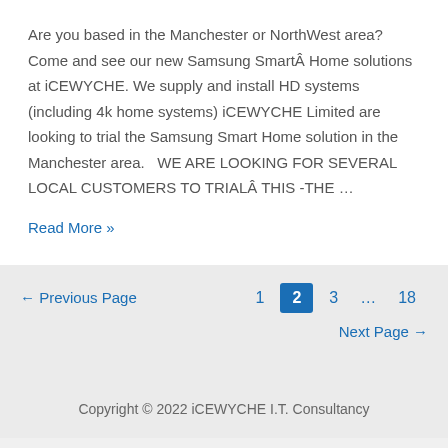Are you based in the Manchester or NorthWest area? Come and see our new Samsung SmartÂ Home solutions at iCEWYCHE. We supply and install HD systems (including 4k home systems) iCEWYCHE Limited are looking to trial the Samsung Smart Home solution in the Manchester area.   WE ARE LOOKING FOR SEVERAL LOCAL CUSTOMERS TO TRIALÂ THIS -THE …
Read More »
← Previous Page   1  2  3  …  18   Next Page →
Copyright © 2022 iCEWYCHE I.T. Consultancy